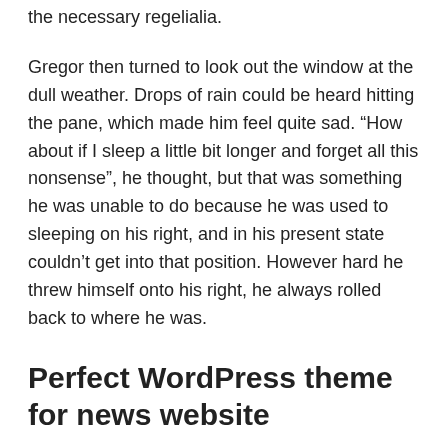the necessary regelialia.
Gregor then turned to look out the window at the dull weather. Drops of rain could be heard hitting the pane, which made him feel quite sad. “How about if I sleep a little bit longer and forget all this nonsense”, he thought, but that was something he was unable to do because he was used to sleeping on his right, and in his present state couldn’t get into that position. However hard he threw himself onto his right, he always rolled back to where he was.
Perfect WordPress theme for news website
Responsive Design. Tested on Google Mobile Friendly
Header Builder with Live Preview